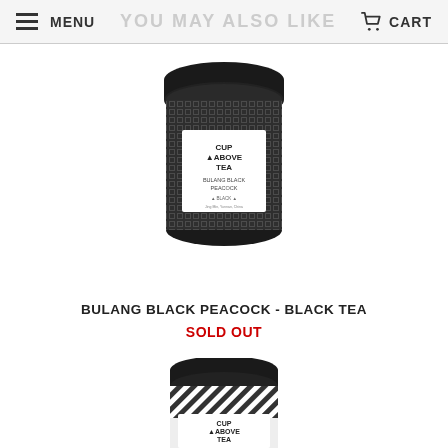MENU   YOU MAY ALSO LIKE   CART
[Figure (photo): A cylindrical black tea tin with black lid labeled 'CUP ABOVE TEA - BULANG BLACK PEACOCK - BLACK' with decorative diamond-pattern texture wrapping the body.]
BULANG BLACK PEACOCK - BLACK TEA
SOLD OUT
[Figure (photo): Partially visible cylindrical tea tin with black lid labeled 'CUP ABOVE TEA - DARK ROAST SUMATRA' with diagonal stripe pattern.]